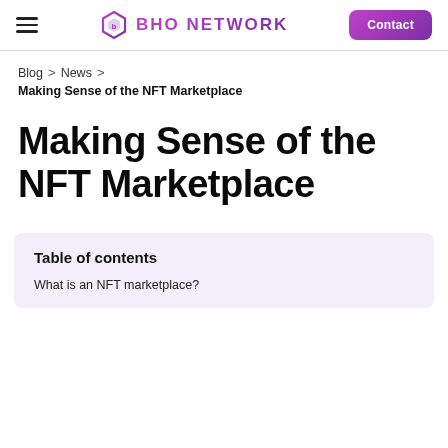BHO NETWORK | Contact
Blog > News >
Making Sense of the NFT Marketplace
Making Sense of the NFT Marketplace
Table of contents
What is an NFT marketplace?